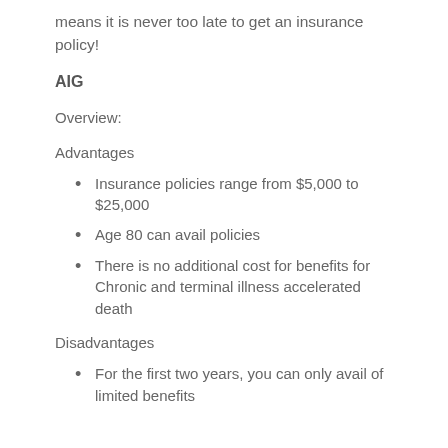means it is never too late to get an insurance policy!
AIG
Overview:
Advantages
Insurance policies range from $5,000 to $25,000
Age 80 can avail policies
There is no additional cost for benefits for Chronic and terminal illness accelerated death
Disadvantages
For the first two years, you can only avail of limited benefits